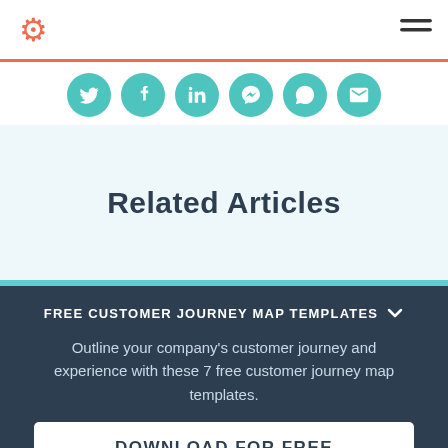HubSpot
[Figure (infographic): Social share icons row: Twitter, Facebook, LinkedIn, Messenger, WhatsApp, Email — all teal circles with white icons]
Related Articles
FREE CUSTOMER JOURNEY MAP TEMPLATES
Outline your company's customer journey and experience with these 7 free customer journey map templates.
DOWNLOAD FOR FREE